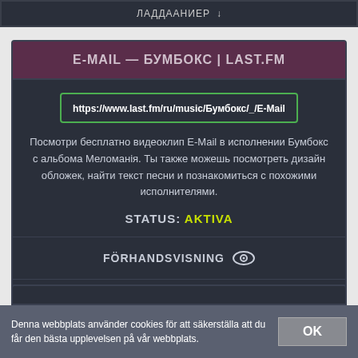ЛАДДААНИЕР ↓
E-MAIL — БУМБОКС | LAST.FM
https://www.last.fm/ru/music/Бумбокс/_/E-Mail
Посмотри бесплатно видеоклип E-Mail в исполнении Бумбокс с альбома Меломанія. Ты также можешь посмотреть дизайн обложек, найти текст песни и познакомиться с похожими исполнителями.
STATUS: AKTIVA
FÖRHANDSVISNING 👁
LADDA NER ⬇
Denna webbplats använder cookies för att säkerställa att du får den bästa upplevelsen på vår webbplats.
OK